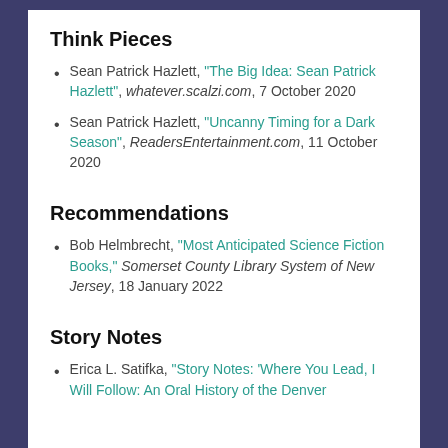Think Pieces
Sean Patrick Hazlett, “The Big Idea: Sean Patrick Hazlett”, whatever.scalzi.com, 7 October 2020
Sean Patrick Hazlett, “Uncanny Timing for a Dark Season”, ReadersEntertainment.com, 11 October 2020
Recommendations
Bob Helmbrecht, “Most Anticipated Science Fiction Books,” Somerset County Library System of New Jersey, 18 January 2022
Story Notes
Erica L. Satifka, “Story Notes: ‘Where You Lead, I Will Follow: An Oral History of the Denver